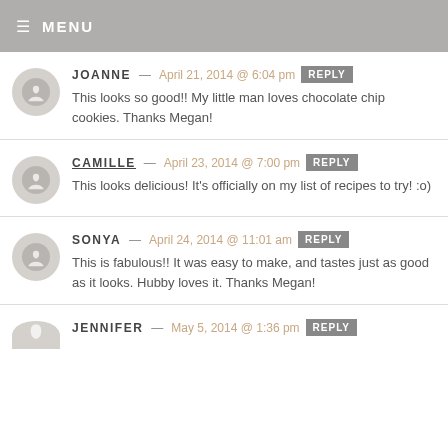MENU
JOANNE — April 21, 2014 @ 6:04 pm
This looks so good!! My little man loves chocolate chip cookies. Thanks Megan!
CAMILLE — April 23, 2014 @ 7:00 pm
This looks delicious! It's officially on my list of recipes to try! :o)
SONYA — April 24, 2014 @ 11:01 am
This is fabulous!! It was easy to make, and tastes just as good as it looks. Hubby loves it. Thanks Megan!
JENNIFER — May 5, 2014 @ 1:36 pm